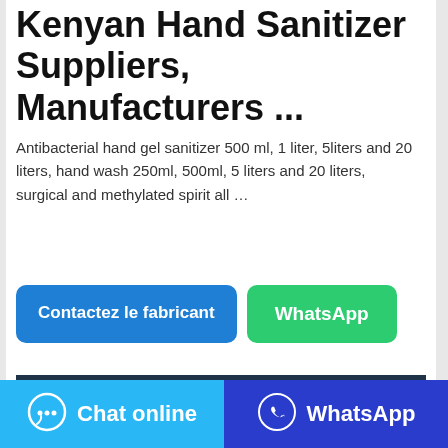Kenyan Hand Sanitizer Suppliers, Manufacturers ...
Antibacterial hand gel sanitizer 500 ml, 1 liter, 5liters and 20 liters, hand wash 250ml, 500ml, 5 liters and 20 liters, surgical and methylated spirit all …
[Figure (screenshot): Two buttons: 'Contactez le fabricant' (blue) and 'WhatsApp' (green)]
[Figure (photo): Dark navy blue product image thumbnail at bottom of card]
[Figure (screenshot): Bottom navigation bar with 'Chat online' (light blue with chat icon) and 'WhatsApp' (dark blue with WhatsApp icon) buttons]